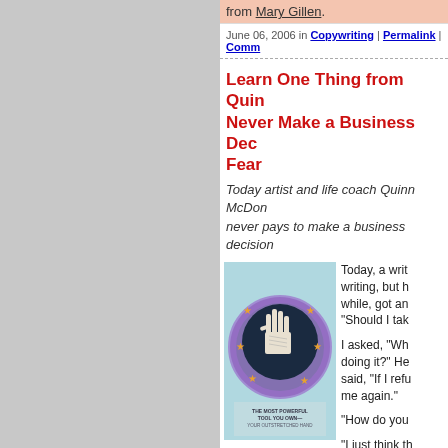from Mary Gillen.
June 06, 2006 in Copywriting | Permalink | Comm...
Learn One Thing from Quin... Never Make a Business Dec... Fear
Today artist and life coach Quinn McDon... never pays to make a business decision...
[Figure (illustration): Circular artwork showing an outstretched hand with text 'THE MOST POWERFUL TOOL YOU OWN... YOUR OUTSTRETCHED HAND', surrounded by stars on dark background with purple swirling border]
Today, a writ... writing, but h... while, got an... "Should I tak...
I asked, "Wh... doing it?" He... said, "If I refu... me again."
"How do you...
"I just think th... tapped for s...